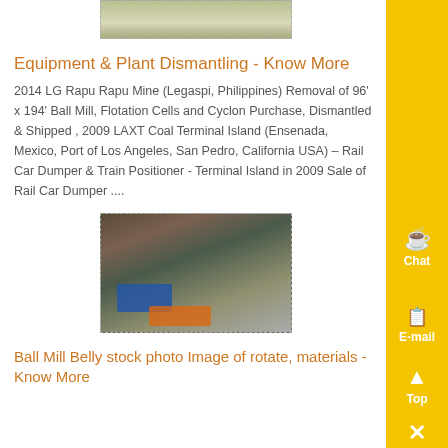[Figure (photo): Partial aerial/landscape image at top of page, dashed border]
Equipment & Plant Dismantling - Know More
2014 LG Rapu Rapu Mine (Legaspi, Philippines) Removal of 96' x 194' Ball Mill, Flotation Cells and Cyclon Purchase, Dismantled & Shipped , 2009 LAXT Coal Terminal Island (Ensenada, Mexico, Port of Los Angeles, San Pedro, California USA) – Rail Car Dumper & Train Positioner - Terminal Island in 2009 Sale of Rail Car Dumper ....
[Figure (photo): Industrial/mining site photo showing machinery and equipment with blue and orange elements, dashed border]
Ball Mill Belly stock photo Image of rotate, materials - Know More